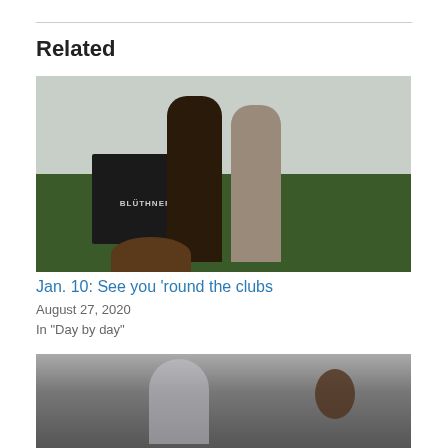Related
[Figure (photo): Two people standing in a studio with a Blüthner grand piano visible, green floor, white background walls, fur and equipment scattered on the floor.]
Jan. 10: See you 'round the clubs
August 27, 2020
In "Day by day"
[Figure (photo): Partially visible image at bottom of page, appears to show a figure with dark furry object against grey background.]